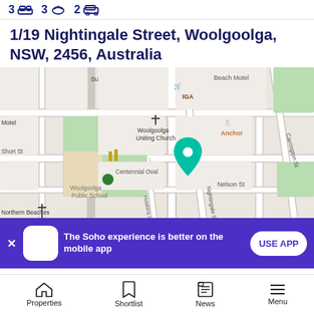3 bed  3 bath  2 car
1/19 Nightingale Street, Woolgoolga, NSW, 2456, Australia
[Figure (map): Street map of Woolgoolga NSW showing location pin at 1/19 Nightingale Street. Nearby landmarks include IGA, Anchor restaurant, Woolgoolga Uniting Church, Centennial Oval, Woolgoolga Public School, Beach Motel, Short St, Nelson St, Carrington St.]
The Soho experience is better on the mobile app
Properties  Shortlist  News  Menu